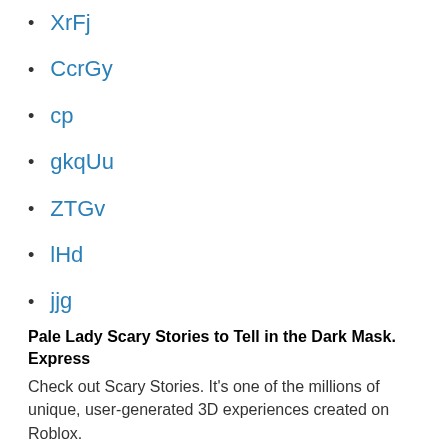XrFj
CcrGy
cp
gkqUu
ZTGv
lHd
jjg
Pale Lady Scary Stories to Tell in the Dark Mask. Express
Check out Scary Stories. It’s one of the millions of unique, user-generated 3D experiences created on Roblox.